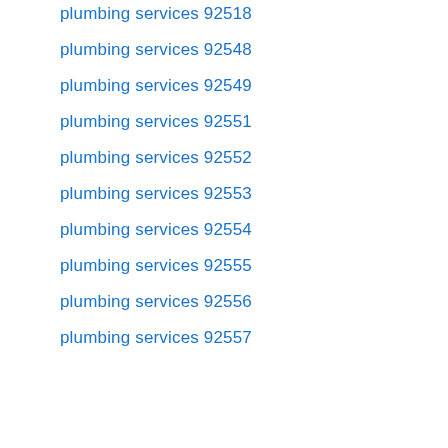plumbing services 92518
plumbing services 92548
plumbing services 92549
plumbing services 92551
plumbing services 92552
plumbing services 92553
plumbing services 92554
plumbing services 92555
plumbing services 92556
plumbing services 92557